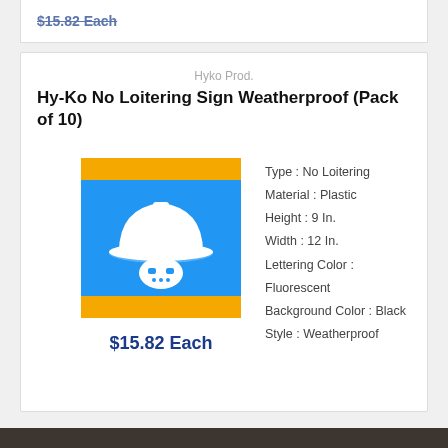$15.82 Each
Hyko Prod.
Hy-Ko No Loitering Sign Weatherproof (Pack of 10)
[Figure (logo): Product image showing a blue and yellow square with a white hard hat icon and robot face symbol]
$15.82 Each
Type : No Loitering
Material : Plastic
Height : 9 In.
Width : 12 In.
Lettering Color : Fluorescent
Background Color : Black
Style : Weatherproof